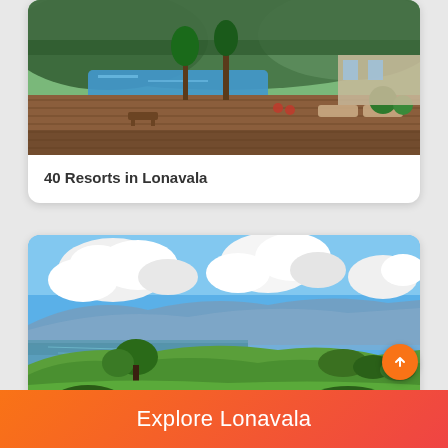[Figure (photo): Aerial/elevated view of a resort with swimming pool, wooden deck, lush green trees, and mountains in background. Lonavala resort.]
40 Resorts in Lonavala
[Figure (photo): Landscape view of Lonavala showing green hills, a lake/reservoir, large white clouds in blue sky, and lush vegetation.]
Explore Lonavala